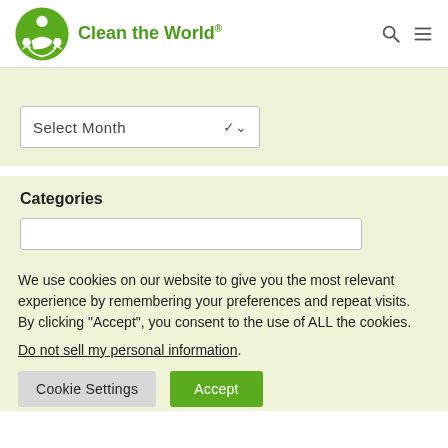Clean the World
[Figure (other): Select Month dropdown widget with down arrow]
Categories
We use cookies on our website to give you the most relevant experience by remembering your preferences and repeat visits. By clicking “Accept”, you consent to the use of ALL the cookies.
Do not sell my personal information.